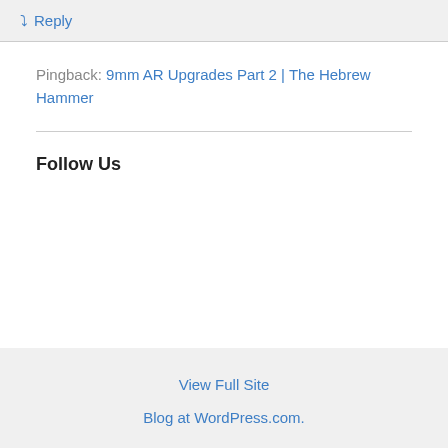↳ Reply
Pingback: 9mm AR Upgrades Part 2 | The Hebrew Hammer
Follow Us
View Full Site
Blog at WordPress.com.